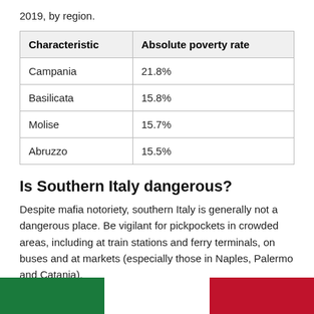2019, by region.
| Characteristic | Absolute poverty rate |
| --- | --- |
| Campania | 21.8% |
| Basilicata | 15.8% |
| Molise | 15.7% |
| Abruzzo | 15.5% |
Is Southern Italy dangerous?
Despite mafia notoriety, southern Italy is generally not a dangerous place. Be vigilant for pickpockets in crowded areas, including at train stations and ferry terminals, on buses and at markets (especially those in Naples, Palermo and Catania).
[Figure (illustration): Italian flag shown as three vertical stripes: green, white, red.]